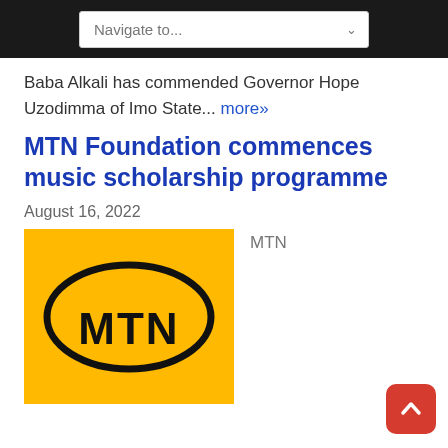Navigate to...
Baba Alkali has commended Governor Hope Uzodimma of Imo State... more»
MTN Foundation commences music scholarship programme
August 16, 2022
[Figure (logo): MTN logo — yellow background with black oval containing bold black text 'MTN']
MTN